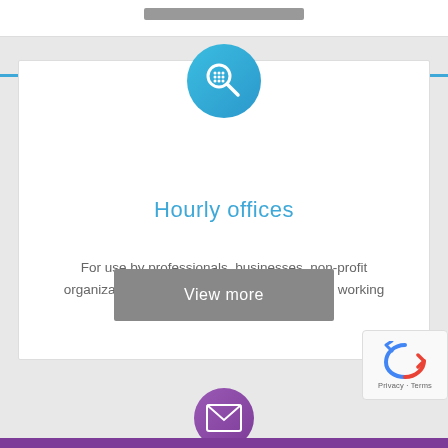[Figure (illustration): Blue circle icon with a magnifying glass and small grid/dots symbol inside, representing office search]
Hourly offices
For use by professionals, businesses, non-profit organizations, and startups that right now are working from home.
[Figure (illustration): Gray 'View more' button]
[Figure (illustration): Purple circle icon partially visible at bottom with envelope/mail icon, and reCAPTCHA badge overlay]